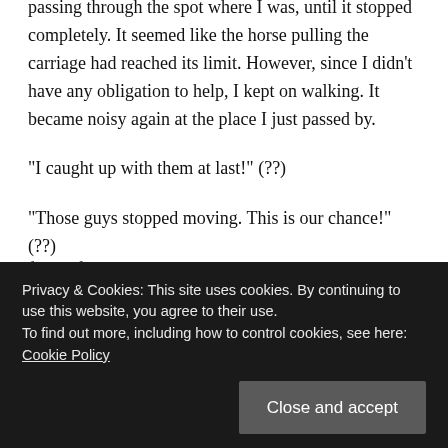passing through the spot where I was, until it stopped completely. It seemed like the horse pulling the carriage had reached its limit. However, since I didn't have any obligation to help, I kept on walking. It became noisy again at the place I just passed by.
“I caught up with them at last!” (??)
“Those guys stopped moving. This is our chance!” (??)
“Our spoils are going to increase too!” (??)
‘Hmmm… Is it a robbery?’
front of me.
Privacy & Cookies: This site uses cookies. By continuing to use this website, you agree to their use.
To find out more, including how to control cookies, see here: Cookie Policy